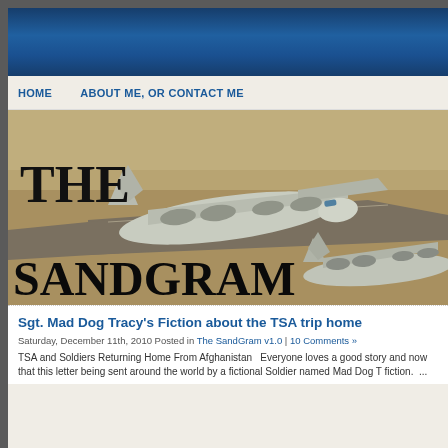[Figure (illustration): Dark blue header banner background for The SandGram blog]
HOME   ABOUT ME, OR CONTACT ME
[Figure (photo): Header image for The SandGram blog showing two C-130 military transport aircraft taxiing on a desert runway, with large text overlay reading 'THE SANDGRAM']
Sgt. Mad Dog Tracy's Fiction about the TSA trip home
Saturday, December 11th, 2010 Posted in The SandGram v1.0 | 10 Comments »
TSA and Soldiers Returning Home From Afghanistan   Everyone loves a good story and now that this letter being sent around the world by a fictional Soldier named Mad Dog T fiction.  ...